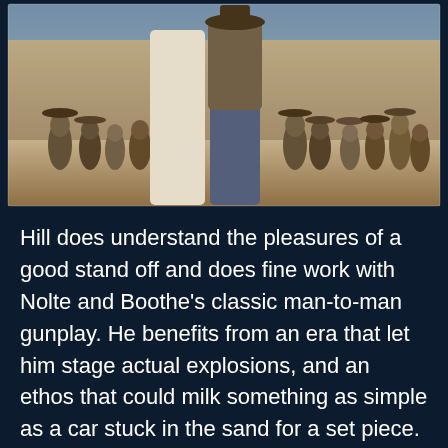[Figure (photo): Outdoor scene with two men standing prominently in the foreground — one in white clothing, one in jeans and a hat — with a large crowd of people wearing hats visible in the background. The setting appears to be a dusty outdoor market or town square.]
Hill does understand the pleasures of a good stand off and does fine work with Nolte and Boothe's classic man-to-man gunplay. He benefits from an era that let him stage actual explosions, and an ethos that could milk something as simple as a car stuck in the sand for a set piece. Hill understands how to make